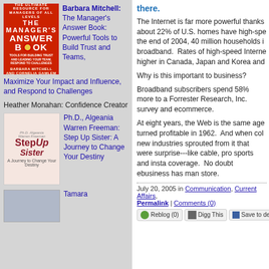[Figure (photo): Book cover: The Manager's Answer Book (red cover)]
Barbara Mitchell: The Manager's Answer Book: Powerful Tools to Build Trust and Teams, Maximize Your Impact and Influence, and Respond to Challenges
Heather Monahan: Confidence Creator
[Figure (photo): Book cover: Step Up Sister by Ph.D. Algeania Warren Freeman]
Ph.D., Algeania Warren Freeman: Step Up Sister: A Journey to Change Your Destiny
[Figure (photo): Partial book cover image for Tamara]
Tamara
there.
The Internet is far more powerful thanks about 22% of U.S. homes have high-spe the end of 2004, 40 million households i broadband.  Rates of high-speed Intern higher in Canada, Japan and Korea and
Why is this important to business?
Broadband subscribers spend 58% more to a Forrester Research, Inc. survey and ecommerce.
At eight years, the Web is the same age turned profitable in 1962.  And when col new industries sprouted from it that were surprise---like cable, pro sports and insta coverage.  No doubt ebusiness has man store.
July 20, 2005 in Communication, Current Affairs, Permalink | Comments (0)
Reblog (0)  Digg This  Save to de